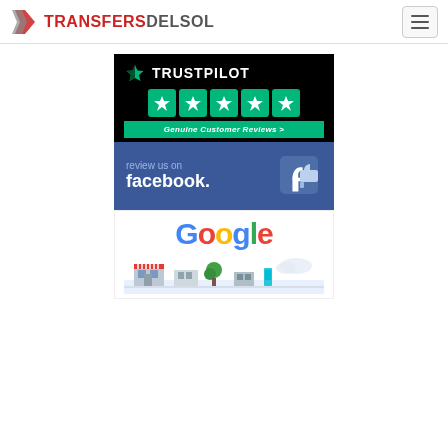TRANSFERS DEL SOL
[Figure (logo): Trustpilot badge with 5 green stars and 'Genuine Customer Reviews >' on green bar]
[Figure (logo): Facebook 'review us on facebook' badge with thumbs up icon]
[Figure (logo): Google logo with colourful letters and storefront illustration below]